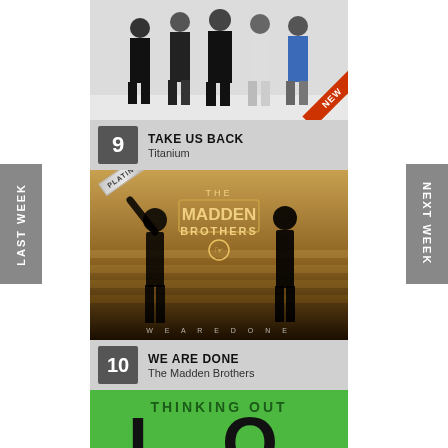LAST WEEK
NEXT WEEK
[Figure (photo): Group photo of 5 young men in casual/streetwear clothing against a white background. A red 'NEW' ribbon badge appears in the bottom right corner.]
9 TAKE US BACK — Titanium
[Figure (photo): Album cover for 'We Are Done' by The Madden Brothers. Two silhouetted figures stand on steps with warm golden/brown lighting. The band logo 'THE MADDEN BROTHERS' is displayed in the center. Text 'W E  A R E  D O N E' appears at the bottom. A 'PLATINUM' tag is in the top left corner.]
10 WE ARE DONE — The Madden Brothers
[Figure (photo): Album art for 'Thinking Out Loud' on a bright green background. Text reads 'THINKING OUT' at top and large letters 'LO' below, with a hand/pointer icon.]